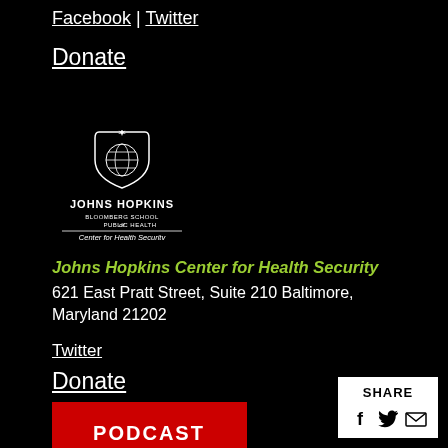Facebook | Twitter
Donate
[Figure (logo): Johns Hopkins Bloomberg School of Public Health, Center for Health Security logo — white crest with globe, university name, and 'Center for Health Security' text below a horizontal rule]
Johns Hopkins Center for Health Security
621 East Pratt Street, Suite 210 Baltimore, Maryland 21202
Twitter
Donate
SHARE
[Figure (infographic): Share buttons: Facebook (f icon), Twitter (bird icon), Email (envelope icon)]
[Figure (other): Red bar at bottom left, partially visible text]